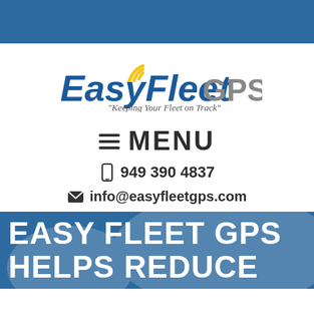[Figure (logo): EasyFleet GPS logo with wifi signal arcs in yellow and blue text, tagline 'Keeping Your Fleet on Track']
≡ MENU
📱 949 390 4837
✉ info@easyfleetgps.com
EASY FLEET GPS HELPS REDUCE